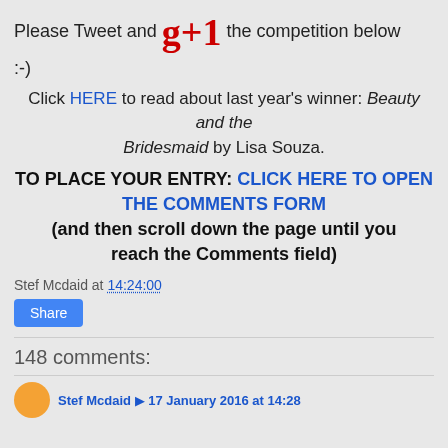Please Tweet and g+1 the competition below :-)
Click HERE to read about last year's winner: Beauty and the Bridesmaid by Lisa Souza.
TO PLACE YOUR ENTRY: CLICK HERE TO OPEN THE COMMENTS FORM (and then scroll down the page until you reach the Comments field)
Stef Mcdaid at 14:24:00
Share
148 comments:
Stef Mcdaid  17 January 2016 at 14:28